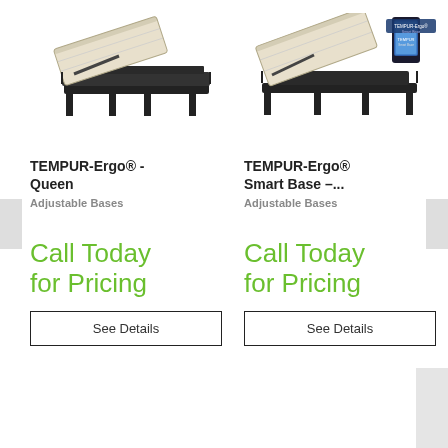[Figure (photo): TEMPUR-Ergo Queen adjustable bed base shown at an angle, black frame with mattress tilted up at head]
TEMPUR-Ergo® - Queen
Adjustable Bases
Call Today for Pricing
See Details
[Figure (photo): TEMPUR-Ergo Smart Base adjustable bed base shown at an angle, black frame with mattress tilted, smart device/tablet shown at head]
TEMPUR-Ergo® Smart Base –...
Adjustable Bases
Call Today for Pricing
See Details